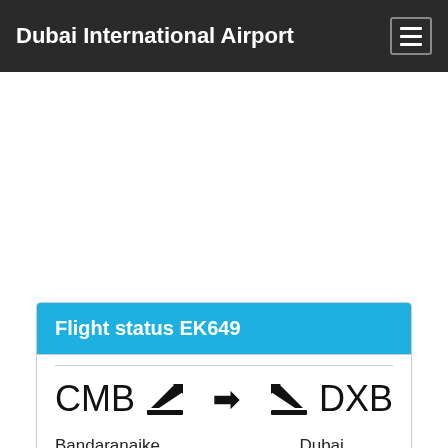Dubai International Airport
Flight status EK649
CMB → DXB
Bandaranaike International Airport
Dubai International Airport